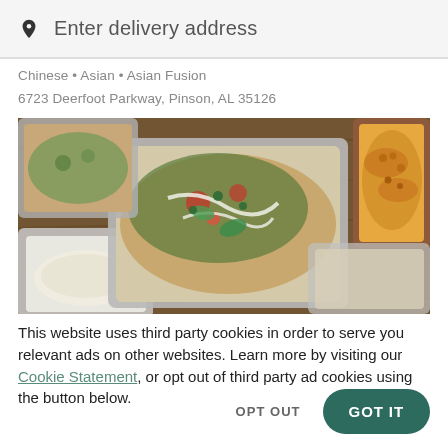Enter delivery address
Chinese • Asian • Asian Fusion
6723 Deerfoot Parkway, Pinson, AL 35126
[Figure (photo): Overhead photo of multiple takeout containers on a wooden table with various Asian fusion dishes including a large nacho-style dish with toppings, a small bowl of mac and cheese, and a container with white sauce.]
This website uses third party cookies in order to serve you relevant ads on other websites. Learn more by visiting our Cookie Statement, or opt out of third party ad cookies using the button below.
OPT OUT
GOT IT